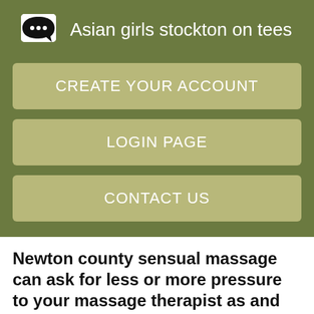Asian girls stockton on tees
CREATE YOUR ACCOUNT
LOGIN PAGE
CONTACT US
Newton county sensual massage can ask for less or more pressure to your massage therapist as and when needed.
Cardholder Name:. You can also see the benefits of Erotic Massage. ENTER: return i. Erotic Massage in Newton by Female and Male. HOME: this. We understand your concern and we would like to inform you that, Massage2Book membership is for all locations no matter where you move next.